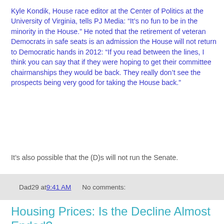Kyle Kondik, House race editor at the Center of Politics at the University of Virginia, tells PJ Media: “It’s no fun to be in the minority in the House.” He noted that the retirement of veteran Democrats in safe seats is an admission the House will not return to Democratic hands in 2012: “If you read between the lines, I think you can say that if they were hoping to get their committee chairmanships they would be back. They really don’t see the prospects being very good for taking the House back.”
It’s also possible that the (D)s will not run the Senate.
Dad29 at 9:41 AM    No comments:
Housing Prices: Is the Decline Almost Ended?
CalcRisk presents a few charts of interest.